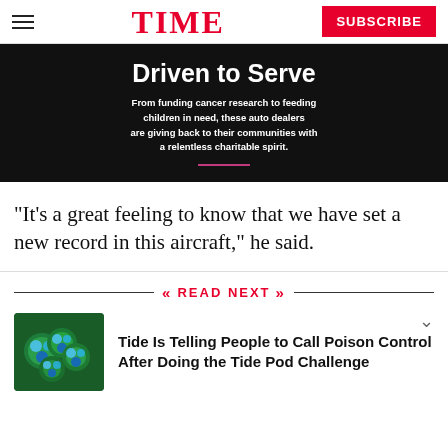TIME | SUBSCRIBE
[Figure (infographic): Dark background ad banner reading 'Driven to Serve' with subtitle 'From funding cancer research to feeding children in need, these auto dealers are giving back to their communities with a relentless charitable spirit.' and a pink underline decoration.]
“It’s a great feeling to know that we have set a new record in this aircraft,” he said.
READ NEXT
[Figure (photo): Thumbnail photo of colorful Tide Pod laundry detergent pods (green and blue circular pods).]
Tide Is Telling People to Call Poison Control After Doing the Tide Pod Challenge